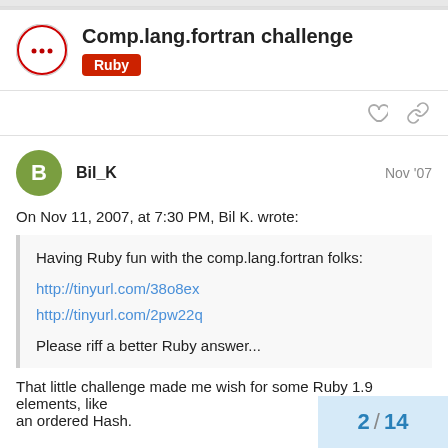Comp.lang.fortran challenge
Ruby
On Nov 11, 2007, at 7:30 PM, Bil K. wrote:
Having Ruby fun with the comp.lang.fortran folks:
http://tinyurl.com/38o8ex
http://tinyurl.com/2pw22q
Please riff a better Ruby answer...
That little challenge made me wish for some Ruby 1.9 elements, like
an ordered Hash.
2 / 14